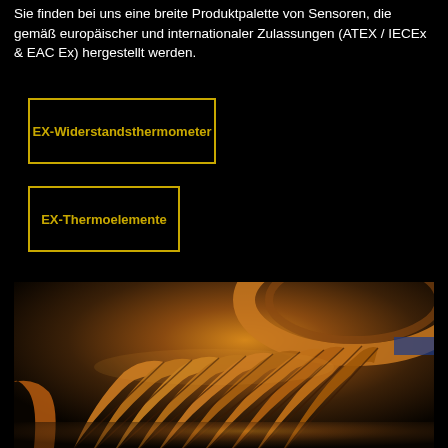Sie finden bei uns eine breite Produktpalette von Sensoren, die gemäß europäischer und internationaler Zulassungen (ATEX / IECEx & EAC Ex) hergestellt werden.
EX-Widerstandsthermometer
EX-Thermoelemente
[Figure (photo): Close-up photograph of industrial turbine blades/rotor components showing curved metallic blades in orange-brown tones against a dark background]